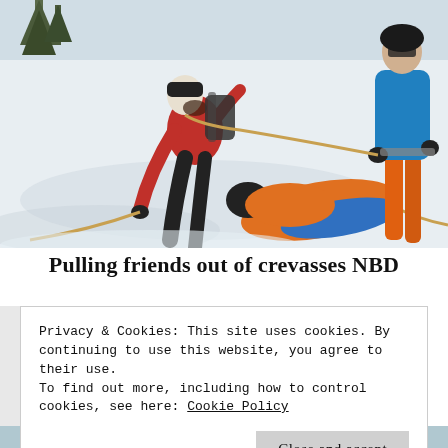[Figure (photo): Three people in winter mountaineering gear on snowy slope. One person in red jacket and black pants leans forward pulling a rope. A second person in an orange vest and blue jacket lies prone on the snow. A third person in a blue jacket and orange pants stands at the right holding the rope. They appear to be practicing crevasse rescue techniques.]
Pulling friends out of crevasses NBD
Privacy & Cookies: This site uses cookies. By continuing to use this website, you agree to their use.
To find out more, including how to control cookies, see here: Cookie Policy
Close and accept
[Figure (photo): Bottom edge of a photo showing people in colorful winter gear, partially visible.]